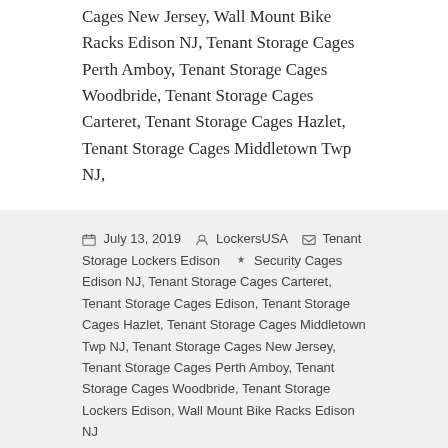Cages New Jersey, Wall Mount Bike Racks Edison NJ, Tenant Storage Cages Perth Amboy, Tenant Storage Cages Woodbride, Tenant Storage Cages Carteret, Tenant Storage Cages Hazlet, Tenant Storage Cages Middletown Twp NJ,
July 13, 2019   LockersUSA   Tenant Storage Lockers Edison   Security Cages Edison NJ, Tenant Storage Cages Carteret, Tenant Storage Cages Edison, Tenant Storage Cages Hazlet, Tenant Storage Cages Middletown Twp NJ, Tenant Storage Cages New Jersey, Tenant Storage Cages Perth Amboy, Tenant Storage Cages Woodbride, Tenant Storage Lockers Edison, Wall Mount Bike Racks Edison NJ
Security Cages Perth Amboy
Security Cages Perth Amboy.  Welded Wire Security Cages in stock. Complimentary on site